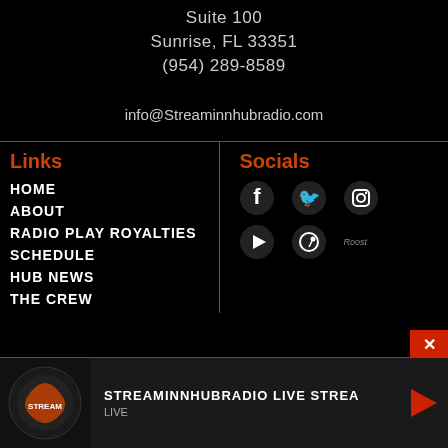Suite 100
Sunrise, FL 33351
(954) 289-8589
info@Streaminnhubradio.com
Links
HOME
ABOUT
RADIO PLAY ROYALTIES
SCHEDULE
HUB NEWS
THE CREW
Socials
[Figure (logo): Social media icons: Facebook, Twitter, Instagram, YouTube, Spotify, Roost]
[Figure (logo): StreaminnHub Radio logo in player bar]
STREAMINNHUBRADIO LIVE STREA
LIVE